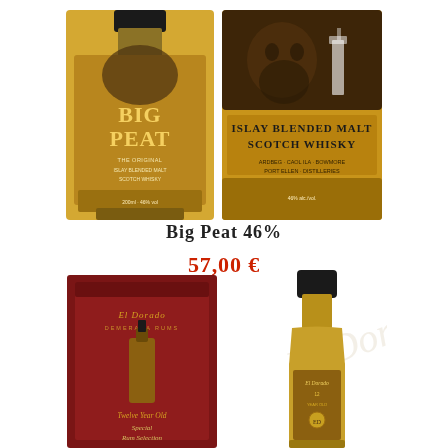[Figure (photo): Big Peat Islay Blended Malt Scotch Whisky bottle (left) and label close-up (right)]
Big Peat 46%
57,00 €
[Figure (photo): El Dorado Twelve Year Old rum box (left) and bottle (right), partially visible]